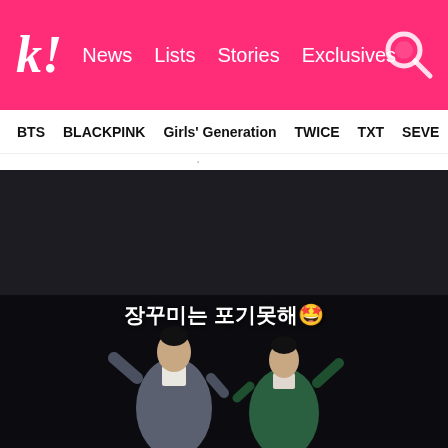k! News  Lists  Stories  Exclusives
BTS  BLACKPINK  Girls' Generation  TWICE  TXT  SEVE...
[Figure (photo): Two people in traditional Korean hanbok clothing dancing against a black background, with Korean text '장꾸미는 포기못해🤩' overlaid at the top]